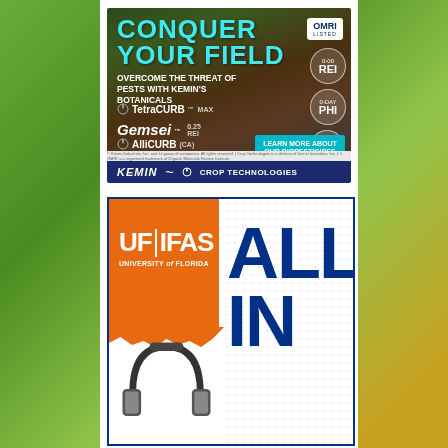[Figure (illustration): Kemin Crop Technologies advertisement showing 'CONQUER YOUR FIELD' headline with product names TetraCURB MAX, Gemsei, AlliCURB (CA), badges for OMRI Listed, 0-00 REI, 0-Day PHI, MRL Exempt, and a 'Learn More About Our Biopesticides' button. Footer shows Kemin | Crop Technologies logo on navy background.]
[Figure (illustration): UF IFAS University of Florida advertisement with orange UF|IFAS logo on left, large 'ALL IN' text in blue on right, headphones graphic at bottom left, and dotted pattern background.]